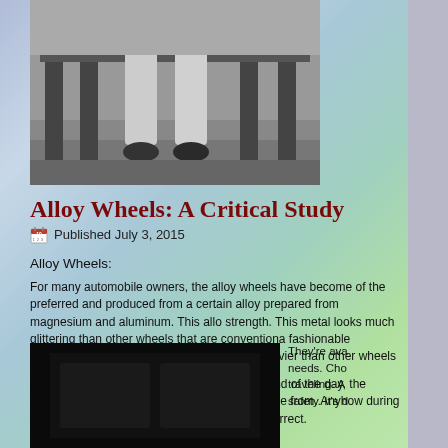[Figure (photo): Black and white photo showing legs of a person sitting, lower body only visible]
Alloy Wheels: A Critical Study
Published July 3, 2015
Alloy Wheels:
For many automobile owners, the alloy wheels have become of the preferred and produced from a certain alloy prepared from magnesium and aluminum. This allo strength. This metal looks much glittering than other wheels that are conventiona fashionable endurance and look. This metal is not a lot heavier than other wheels
Keeping pace together with the growing demand of the day, the industry has bee plenty of alternatives to choose from. Anyhow during the time of choosing alloy w selection that is correct.
Below are these:
Size
[Figure (photo): Dark/black image, possibly showing alloy wheels]
They're ava needs. Cho traveling. A safety. It's d